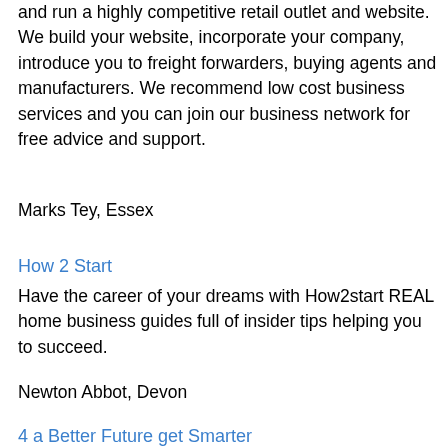and run a highly competitive retail outlet and website. We build your website, incorporate your company, introduce you to freight forwarders, buying agents and manufacturers. We recommend low cost business services and you can join our business network for free advice and support.
Marks Tey, Essex
How 2 Start
Have the career of your dreams with How2start REAL home business guides full of insider tips helping you to succeed.
Newton Abbot, Devon
4 a Better Future get Smarter